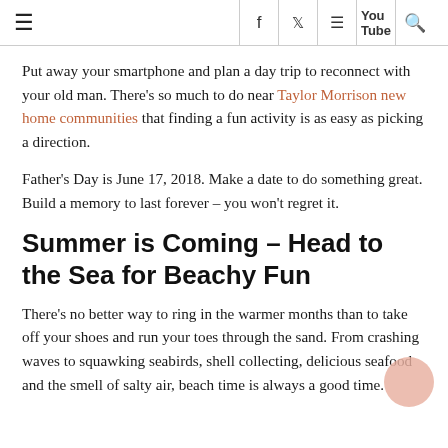≡  f  [twitter]  [pinterest]  [youtube]  [search]
Put away your smartphone and plan a day trip to reconnect with your old man. There's so much to do near Taylor Morrison new home communities that finding a fun activity is as easy as picking a direction.
Father's Day is June 17, 2018. Make a date to do something great. Build a memory to last forever – you won't regret it.
Summer is Coming – Head to the Sea for Beachy Fun
There's no better way to ring in the warmer months than to take off your shoes and run your toes through the sand. From crashing waves to squawking seabirds, shell collecting, delicious seafood and the smell of salty air, beach time is always a good time.